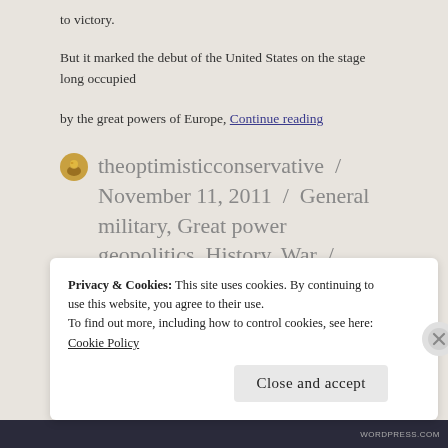to victory.
But it marked the debut of the United States on the stage long occupied by the great powers of Europe, Continue reading
theoptimisticconservative / November 11, 2011 / General military, Great power geopolitics, History, War / Armistice Day, In Flanders Fields, Veterans Day, World
Privacy & Cookies: This site uses cookies. By continuing to use this website, you agree to their use.
To find out more, including how to control cookies, see here: Cookie Policy
Close and accept